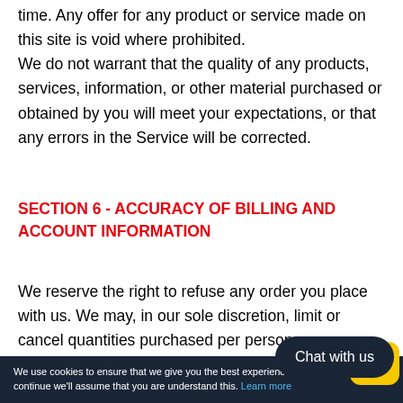time. Any offer for any product or service made on this site is void where prohibited.
We do not warrant that the quality of any products, services, information, or other material purchased or obtained by you will meet your expectations, or that any errors in the Service will be corrected.
SECTION 6 - ACCURACY OF BILLING AND ACCOUNT INFORMATION
We reserve the right to refuse any order you place with us. We may, in our sole discretion, limit or cancel quantities purchased per person, per household or per order. These restrictions may include orders placed
We use cookies to ensure that we give you the best experience on our website. If you continue we'll assume that you are understand this. Learn more